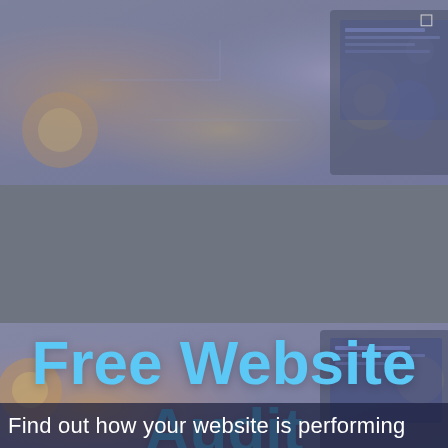[Figure (screenshot): Tech/digital themed background image with colorful glowing circles and circuit-like patterns, shown in two horizontal strips at top and middle of page. A grayish semi-transparent overlay covers most of the image.]
Free Website Audit
Find out how your website is performing